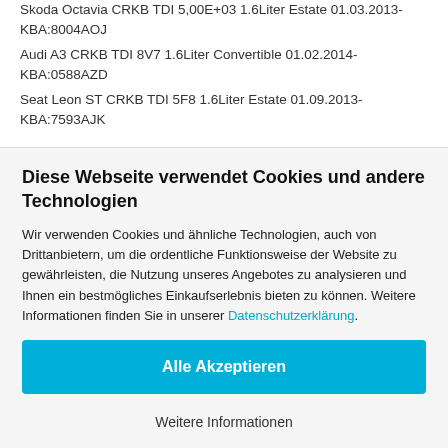Skoda Octavia CRKB TDI 5,00E+03 1.6Liter Estate 01.03.2013- KBA:8004AOJ
Audi A3 CRKB TDI 8V7 1.6Liter Convertible 01.02.2014- KBA:0588AZD
Seat Leon ST CRKB TDI 5F8 1.6Liter Estate 01.09.2013- KBA:7593AJK
Diese Webseite verwendet Cookies und andere Technologien
Wir verwenden Cookies und ähnliche Technologien, auch von Drittanbietern, um die ordentliche Funktionsweise der Website zu gewährleisten, die Nutzung unseres Angebotes zu analysieren und Ihnen ein bestmögliches Einkaufserlebnis bieten zu können. Weitere Informationen finden Sie in unserer Datenschutzerklärung.
Alle Akzeptieren
Weitere Informationen